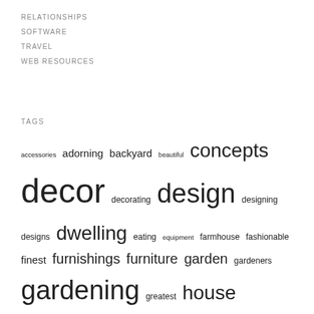RELATIONSHIPS
SOFTWARE
TRAVEL
WEB RESOURCES
TAGS
accessories adorning backyard beautiful concepts decor decorating design designing designs dwelling eating equipment farmhouse fashionable finest furnishings furniture garden gardeners gardening greatest house ideas india inside inspiration instruments interior island kitchen kitchens methods modern online photos pictures residence small storage suggestions tools value vegetable video